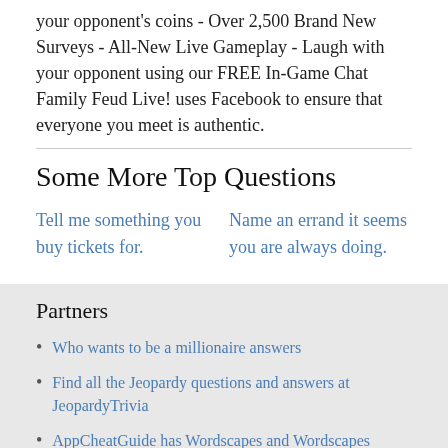your opponent's coins - Over 2,500 Brand New Surveys - All-New Live Gameplay - Laugh with your opponent using our FREE In-Game Chat Family Feud Live! uses Facebook to ensure that everyone you meet is authentic.
Some More Top Questions
Tell me something you buy tickets for.
Name an errand it seems you are always doing.
Partners
Who wants to be a millionaire answers
Find all the Jeopardy questions and answers at JeopardyTrivia
AppCheatGuide has Wordscapes and Wordscapes Shapes Answers and other games from peoplefun.